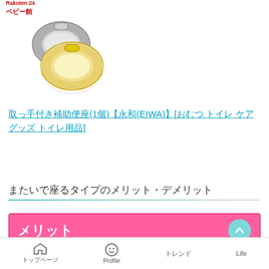Rakuten 24
ベビー館
[Figure (photo): Baby pacifier toilet seat product image showing two toilet training seats - one silver/gray and one white/yellow colored]
取っ手付き補助便座(1個)【永和(EIWA)】[おむつ トイレ ケアグッズ トイレ用品]
またいで座るタイプのメリット・デメリット
メリット
・場所を取りにくい
トップページ　Profile　トレンド　Life